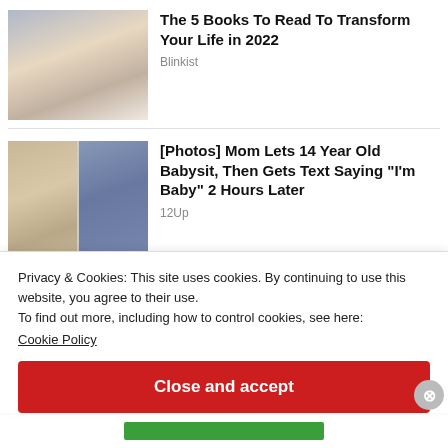[Figure (photo): Portrait photo of a blonde woman looking to the side]
The 5 Books To Read To Transform Your Life in 2022
Blinkist
[Figure (photo): Two-panel photo: girl with long blonde hair on left, blue/dark background on right]
[Photos] Mom Lets 14 Year Old Babysit, Then Gets Text Saying "I'm Baby" 2 Hours Later
12Up
Privacy & Cookies: This site uses cookies. By continuing to use this website, you agree to their use.
To find out more, including how to control cookies, see here:
Cookie Policy
Close and accept